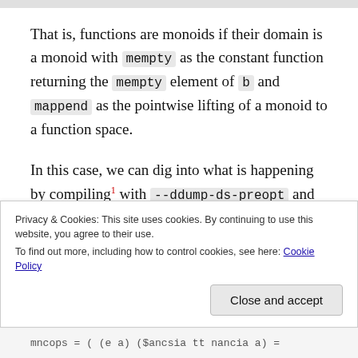That is, functions are monoids if their domain is a monoid with mempty as the constant function returning the mempty element of b and mappend as the pointwise lifting of a monoid to a function space.
In this case, we can dig into what is happening by compiling¹ with --ddump-ds-preopt and looking at GHC's desugared output before optimisation, where all the type class instances have been resolved. I've
Privacy & Cookies: This site uses cookies. By continuing to use this website, you agree to their use.
To find out more, including how to control cookies, see here: Cookie Policy
Close and accept
mncops = ( (e a) ($ancsia tt nancia a) =